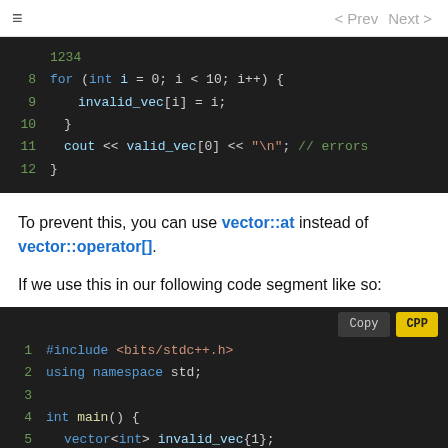≡   < Prev   Next >
[Figure (screenshot): Dark-themed code editor showing lines 8-12 of a C++ snippet with a for loop writing to invalid_vec, and a cout statement reading valid_vec[0] with a comment '// errors']
To prevent this, you can use vector::at instead of vector::operator[].
If we use this in our following code segment like so:
[Figure (screenshot): Dark-themed code editor showing lines 1-6 of a C++ snippet: #include <bits/stdc++.h>, using namespace std;, blank line, int main() {, vector<int> invalid_vec{1};, vector<int> valid_vec{1234};. Copy and CPP buttons visible in top right.]